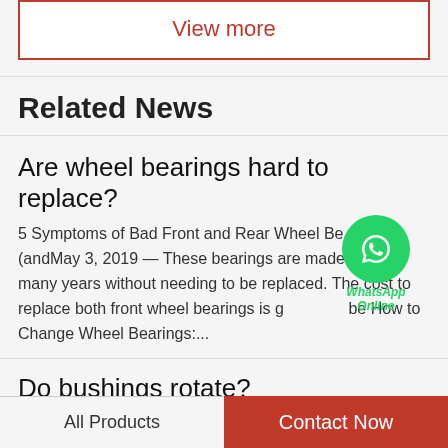View more
Related News
Are wheel bearings hard to replace?
5 Symptoms of Bad Front and Rear Wheel Bearings (andMay 3, 2019 — These bearings are made to last for many years without needing to be replaced. The cost to replace both front wheel bearings is going to be How to Change Wheel Bearings:...
[Figure (logo): WhatsApp green circle logo with phone icon and text 'WhatsApp Online']
Do bushings rotate?
FAQ - What is a Bushing? A Type of Bearing | GGBBushings are akin to thin tubes most commonly
All Products   Contact Now